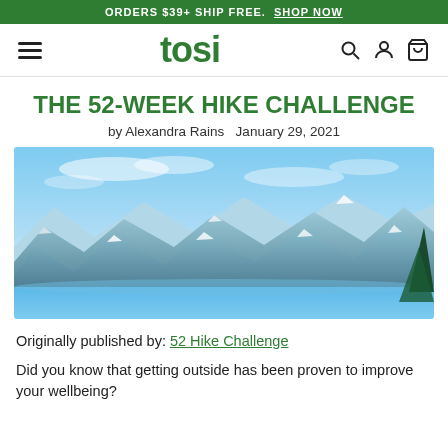ORDERS $39+ SHIP FREE.  SHOP NOW
[Figure (logo): Tosi brand logo with hamburger menu, search, account, and cart icons in a navigation bar]
THE 52-WEEK HIKE CHALLENGE
by Alexandra Rains   January 29, 2021
[Figure (photo): Panoramic mountain landscape with snow-capped peaks, a lake in the foreground, and blue sky with light clouds. Trees visible on the right edge.]
Originally published by: 52 Hike Challenge
Did you know that getting outside has been proven to improve your wellbeing?